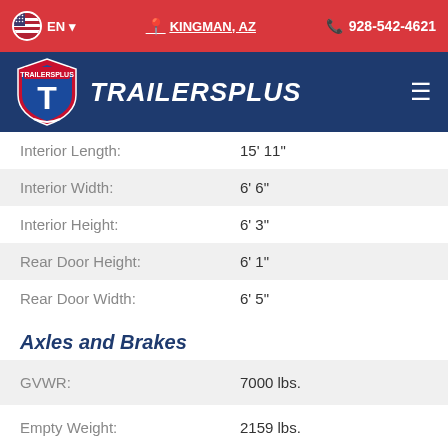EN | KINGMAN, AZ | 928-542-4621
[Figure (logo): TrailersPlus logo with shield icon and brand name]
| Specification | Value |
| --- | --- |
| Interior Length: | 15' 11" |
| Interior Width: | 6' 6" |
| Interior Height: | 6' 3" |
| Rear Door Height: | 6' 1" |
| Rear Door Width: | 6' 5" |
Axles and Brakes
| Specification | Value |
| --- | --- |
| GVWR: | 7000 lbs. |
| Empty Weight: | 2159 lbs. |